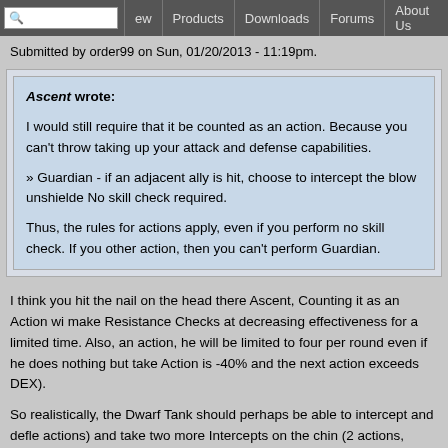Products | Downloads | Forums | About Us
Submitted by order99 on Sun, 01/20/2013 - 11:19pm.
Ascent wrote:

I would still require that it be counted as an action. Because you can't throw taking up your attack and defense capabilities.

» Guardian - if an adjacent ally is hit, choose to intercept the blow unshielded. No skill check required.

Thus, the rules for actions apply, even if you perform no skill check. If you other action, then you can't perform Guardian.
I think you hit the nail on the head there Ascent, Counting it as an Action wi make Resistance Checks at decreasing effectiveness for a limited time. Also, an action, he will be limited to four per round even if he does nothing but take Action is -40% and the next action exceeds DEX).
So realistically, the Dwarf Tank should perhaps be able to intercept and defle actions) and take two more Intercepts on the chin (2 actions, exceeds both S Still pretty potent but not game-breaking...
I hate house-ruling something this early in the Playtest, but my players are fi any further Rules weaknesses these devils find (or create!) as play continues!